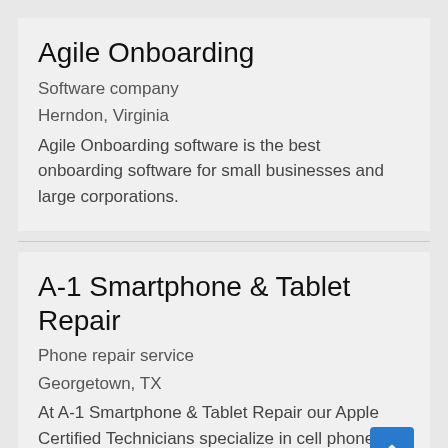Agile Onboarding
Software company
Herndon, Virginia
Agile Onboarding software is the best onboarding software for small businesses and large corporations.
A-1 Smartphone & Tablet Repair
Phone repair service
Georgetown, TX
At A-1 Smartphone & Tablet Repair our Apple Certified Technicians specialize in cell phone, tablet, computer, and general